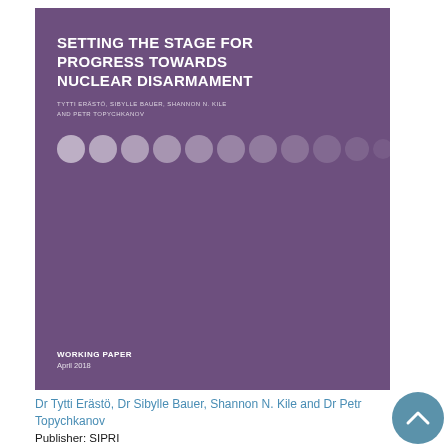[Figure (illustration): Book/report cover with purple background, title, author names, decorative circles row, and working paper label]
Dr Tytti Erästö, Dr Sibylle Bauer, Shannon N. Kile and Dr Petr Topychkanov
Publisher: SIPRI